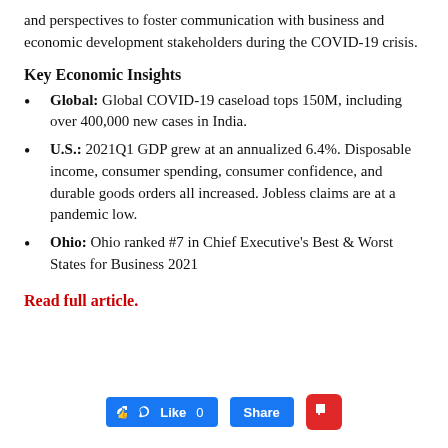and perspectives to foster communication with business and economic development stakeholders during the COVID-19 crisis.
Key Economic Insights
Global: Global COVID-19 caseload tops 150M, including over 400,000 new cases in India.
U.S.: 2021Q1 GDP grew at an annualized 6.4%. Disposable income, consumer spending, consumer confidence, and durable goods orders all increased. Jobless claims are at a pandemic low.
Ohio: Ohio ranked #7 in Chief Executive's Best & Worst States for Business 2021
Read full article.
[Figure (other): Social sharing buttons: Facebook Like (0), Facebook Share, and Flipboard icon]